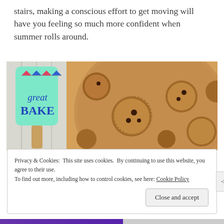stairs, making a conscious effort to get moving will have you feeling so much more confident when summer rolls around.
[Figure (photo): A mint green silicone spatula with 'great BAKE' written in blue letters and small bunting flags, next to chocolate chip cookies on a wooden board.]
Privacy & Cookies: This site uses cookies. By continuing to use this website, you agree to their use. To find out more, including how to control cookies, see here: Cookie Policy
Close and accept